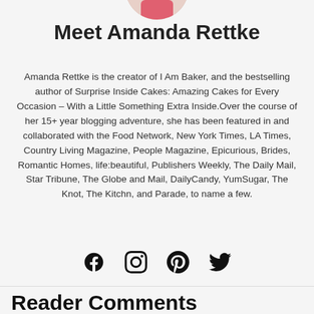[Figure (photo): Partial circular profile photo of Amanda Rettke, cropped at top of page]
Meet Amanda Rettke
Amanda Rettke is the creator of I Am Baker, and the bestselling author of Surprise Inside Cakes: Amazing Cakes for Every Occasion – With a Little Something Extra Inside.Over the course of her 15+ year blogging adventure, she has been featured in and collaborated with the Food Network, New York Times, LA Times, Country Living Magazine, People Magazine, Epicurious, Brides, Romantic Homes, life:beautiful, Publishers Weekly, The Daily Mail, Star Tribune, The Globe and Mail, DailyCandy, YumSugar, The Knot, The Kitchn, and Parade, to name a few.
[Figure (illustration): Social media icons: Facebook, Instagram, Pinterest, Twitter]
Reader Comments